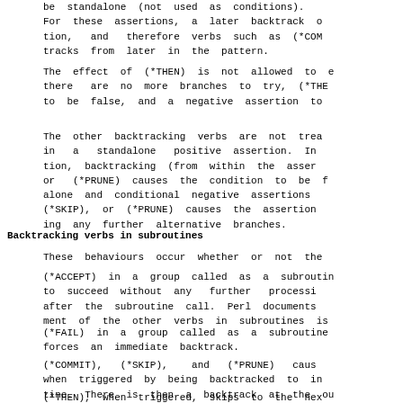be standalone (not used as conditions). For these assertions, a later backtrack tion, and therefore verbs such as (*COM tracks from later in the pattern.
The effect of (*THEN) is not allowed to e there are no more branches to try, (*THE to be false, and a negative assertion to
The other backtracking verbs are not trea in a standalone positive assertion. In tion, backtracking (from within the asser or (*PRUNE) causes the condition to be f alone and conditional negative assertions (*SKIP), or (*PRUNE) causes the assertion ing any further alternative branches.
Backtracking verbs in subroutines
These behaviours occur whether or not the
(*ACCEPT) in a group called as a subroutin to succeed without any further processi after the subroutine call. Perl documents ment of the other verbs in subroutines is
(*FAIL) in a group called as a subroutine forces an immediate backtrack.
(*COMMIT), (*SKIP), and (*PRUNE) caus when triggered by being backtracked to in tine. There is then a backtrack at the ou
(*THEN), when triggered, skips to the nex enclosing group that has alternatives (i